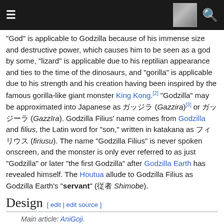☰ [thumbnail] 🔍
"God" is applicable to Godzilla because of his immense size and destructive power, which causes him to be seen as a god by some, "lizard" is applicable due to his reptilian appearance and ties to the time of the dinosaurs, and "gorilla" is applicable due to his strength and his creation having been inspired by the famous gorilla-like giant monster King Kong.[2] "Godzilla" may be approximated into Japanese as ガッジラ (Gazzira)[3] or ガッジーラ (Gazzīra). Godzilla Filius' name comes from Godzilla and filius, the Latin word for "son," written in katakana as フィリウス (firiusu). The name "Godzilla Filius" is never spoken onscreen, and the monster is only ever referred to as just "Godzilla" or later "the first Godzilla" after Godzilla Earth has revealed himself. The Houtua allude to Godzilla Filius as Godzilla Earth's "servant" (従者 Shimobe).
Design
Main article: AniGoji.
At first glance, Godzilla Filius closely resembles the MonsterVerse Godzilla, with a bulky body, a thick and short neck, large arms, jagged triangular dorsal plates, and a crocodile-like head with a relatively long snout. Godzilla Filius' dorsal plates are somewhat larger than the